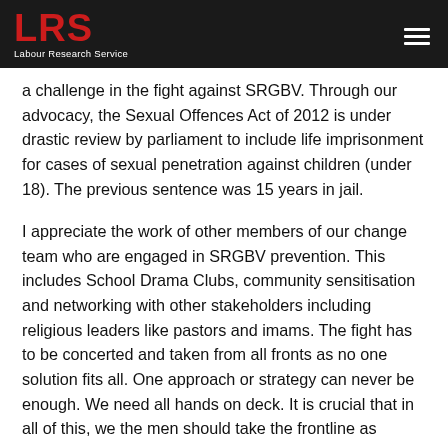LRS Labour Research Service
a challenge in the fight against SRGBV. Through our advocacy, the Sexual Offences Act of 2012 is under drastic review by parliament to include life imprisonment for cases of sexual penetration against children (under 18). The previous sentence was 15 years in jail.
I appreciate the work of other members of our change team who are engaged in SRGBV prevention. This includes School Drama Clubs, community sensitisation and networking with other stakeholders including religious leaders like pastors and imams. The fight has to be concerted and taken from all fronts as no one solution fits all. One approach or strategy can never be enough. We need all hands on deck. It is crucial that in all of this, we the men should take the frontline as